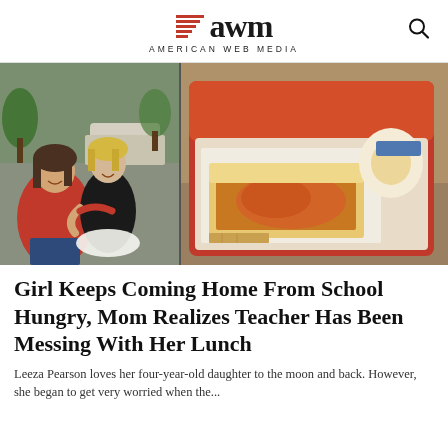awm AMERICAN WEB MEDIA
[Figure (photo): Left: A woman and a young blonde girl smiling outdoors. Right: An open red lunchbox containing a sandwich and egg.]
Girl Keeps Coming Home From School Hungry, Mom Realizes Teacher Has Been Messing With Her Lunch
Leeza Pearson loves her four-year-old daughter to the moon and back. However, she began to get very worried when the...